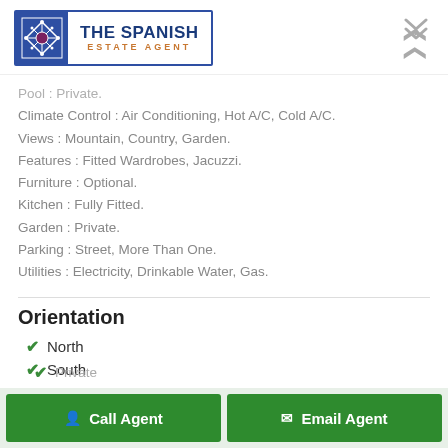[Figure (logo): The Spanish Estate Agent logo with blue tile pattern and orange subtitle text]
Pool : Private.
Climate Control : Air Conditioning, Hot A/C, Cold A/C.
Views : Mountain, Country, Garden.
Features : Fitted Wardrobes, Jacuzzi.
Furniture : Optional.
Kitchen : Fully Fitted.
Garden : Private.
Parking : Street, More Than One.
Utilities : Electricity, Drinkable Water, Gas.
Orientation
North
South
Private